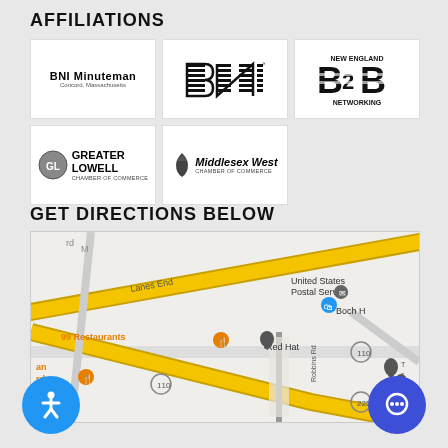AFFILIATIONS
[Figure (logo): BNI Minuteman logo - Concord, Massachusetts]
[Figure (logo): BNI logo with TM mark]
[Figure (logo): New England B2B Networking logo]
[Figure (logo): Greater Lowell Chamber of Commerce logo]
[Figure (logo): Middlesex West Chamber of Commerce logo]
GET DIRECTIONS BELOW
[Figure (map): Google Maps screenshot showing area with United States Postal Service, Boch H, 99 Restaurants, Red Hat, NETSCOUT, Route 110, Route 225, Lanes End, Robbins Rd]